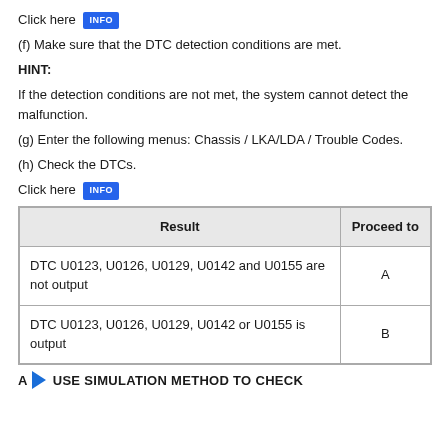Click here INFO
(f) Make sure that the DTC detection conditions are met.
HINT:
If the detection conditions are not met, the system cannot detect the malfunction.
(g) Enter the following menus: Chassis / LKA/LDA / Trouble Codes.
(h) Check the DTCs.
Click here INFO
| Result | Proceed to |
| --- | --- |
| DTC U0123, U0126, U0129, U0142 and U0155 are not output | A |
| DTC U0123, U0126, U0129, U0142 or U0155 is output | B |
A ▶ USE SIMULATION METHOD TO CHECK